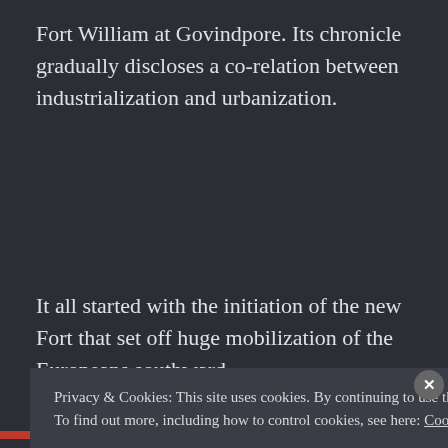Fort William at Govindpore. Its chronicle gradually discloses a co-relation between industrialization and urbanization.
It all started with the initiation of the new Fort that set off huge mobilization of the Europeans southward
Privacy & Cookies: This site uses cookies. By continuing to use this website, you agree to their use.
To find out more, including how to control cookies, see here: Cookie Policy
Close and accept